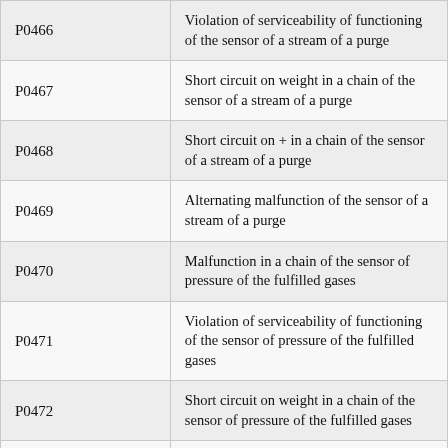| Code | Description |
| --- | --- |
| P0466 | Violation of serviceability of functioning of the sensor of a stream of a purge |
| P0467 | Short circuit on weight in a chain of the sensor of a stream of a purge |
| P0468 | Short circuit on + in a chain of the sensor of a stream of a purge |
| P0469 | Alternating malfunction of the sensor of a stream of a purge |
| P0470 | Malfunction in a chain of the sensor of pressure of the fulfilled gases |
| P0471 | Violation of serviceability of functioning of the sensor of pressure of the fulfilled gases |
| P0472 | Short circuit on weight in a chain of the sensor of pressure of the fulfilled gases |
| P0473 | Short circuit on + in a chain of the sensor of pressure of the fulfilled gases |
|  | Alternating malfunction in a chain of |